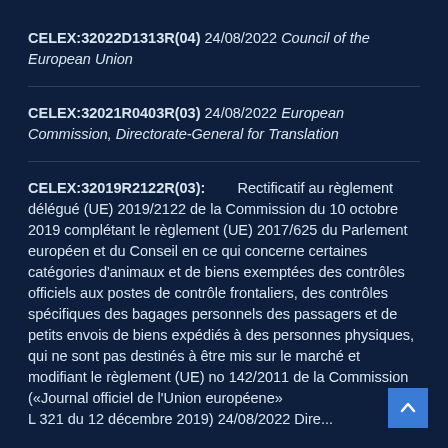CELEX:32022D1313R(04) 24/08/2022 Council of the European Union
CELEX:32021R0403R(03) 24/08/2022 European Commission, Directorate-General for Translation
CELEX:32019R2122R(03): Rectificatif au règlement délégué (UE) 2019/2122 de la Commission du 10 octobre 2019 complétant le règlement (UE) 2017/625 du Parlement européen et du Conseil en ce qui concerne certaines catégories d'animaux et de biens exemptées des contrôles officiels aux postes de contrôle frontaliers, des contrôles spécifiques des bagages personnels des passagers et de petits envois de biens expédiés à des personnes physiques, qui ne sont pas destinés à être mis sur le marché et modifiant le règlement (UE) no 142/2011 de la Commission («Journal officiel de l'Union européenne» L 321 du 12 décembre 2019) 24/08/2022 Directorate...